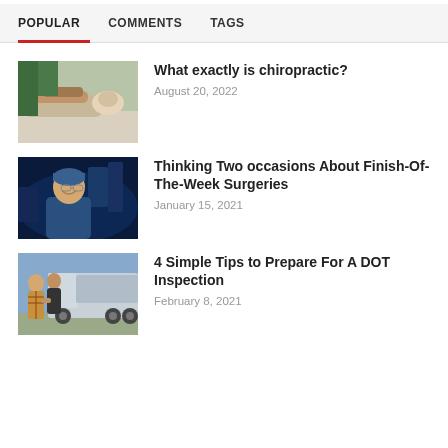POPULAR   COMMENTS   TAGS
[Figure (photo): Person receiving chiropractic back treatment, practitioner's hands on patient's lower back]
What exactly is chiropractic?
August 20, 2022
[Figure (photo): Smiling surgeon in scrubs and surgical cap standing in an operating room with blue lighting]
Thinking Two occasions About Finish-Of-The-Week Surgeries
January 15, 2021
[Figure (photo): Two men shaking hands in front of large commercial trucks outdoors]
4 Simple Tips to Prepare For A DOT Inspection
February 8, 2021